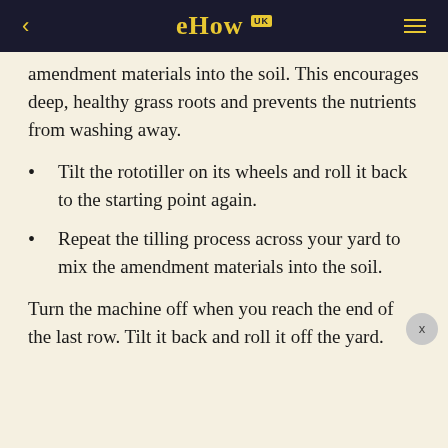eHow UK
amendment materials into the soil. This encourages deep, healthy grass roots and prevents the nutrients from washing away.
Tilt the rototiller on its wheels and roll it back to the starting point again.
Repeat the tilling process across your yard to mix the amendment materials into the soil.
Turn the machine off when you reach the end of the last row. Tilt it back and roll it off the yard.